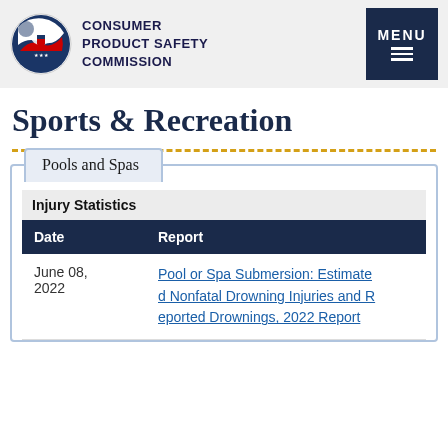CONSUMER PRODUCT SAFETY COMMISSION
Sports & Recreation
Pools and Spas
Injury Statistics
| Date | Report |
| --- | --- |
| June 08, 2022 | Pool or Spa Submersion: Estimated Nonfatal Drowning Injuries and Reported Drownings, 2022 Report |